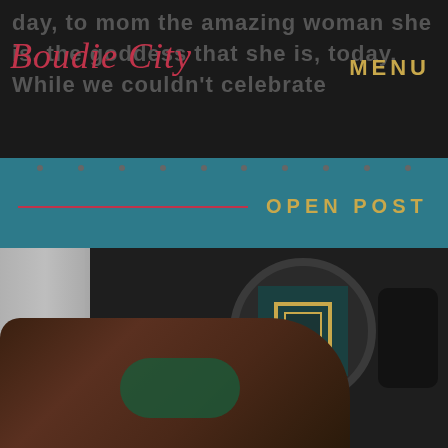day, to mom the amazing woman she is, the goddess that she is, today. While we couldn't celebrate
Boudie City
MENU
OPEN POST
[Figure (photo): Boudoir photography image: a woman in green lingerie and black stockings reclines on a bed in front of a dark wall with a decorative round mirror featuring a gold-framed square design. Grey curtains are visible on the left side.]